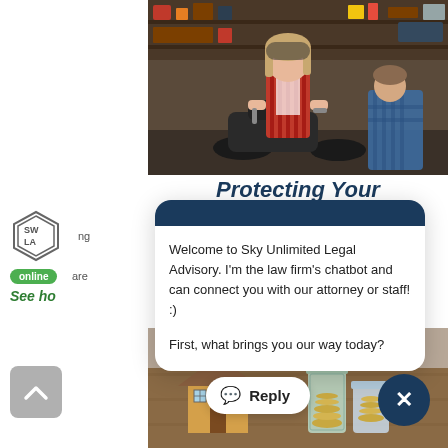[Figure (photo): Photo of a young girl holding tools in a motorcycle garage workshop, with a man working on a bike in the background]
Protecting Your
[Figure (screenshot): Chatbot popup widget from Sky Unlimited Legal Advisory law firm with dark blue header and white body]
Welcome to Sky Unlimited Legal Advisory. I'm the law firm's chatbot and can connect you with our attorney or staff! :)
First, what brings you our way today?
[Figure (logo): Sky Unlimited Legal Advisory hexagon logo with letters SULA]
online
are
See ho
[Figure (photo): Photo of a wooden house model next to mason jars filled with coins on a wooden surface]